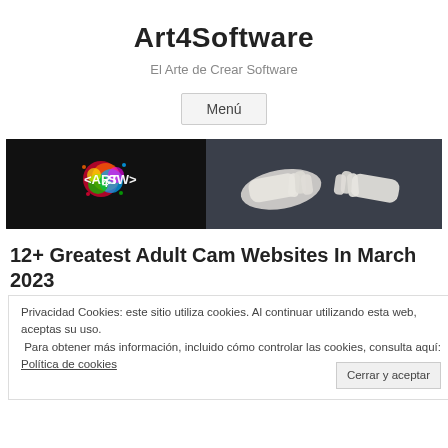Art4Software
El Arte de Crear Software
Menú
[Figure (screenshot): Banner image with Art4Software logo on dark background on the left, and two robotic hands nearly touching on the right]
12+ Greatest Adult Cam Websites In March 2023
Privacidad Cookies: este sitio utiliza cookies. Al continuar utilizando esta web, aceptas su uso.
Para obtener más información, incluido cómo controlar las cookies, consulta aquí: Política de cookies
Cerrar y aceptar
After that, you will need to purchase credit to benefit from the site. Women come to LuckyCrush hoping to make money, so stocking up slightly bit will do you some good. Truthfully, it's because they need to be tipped well, however